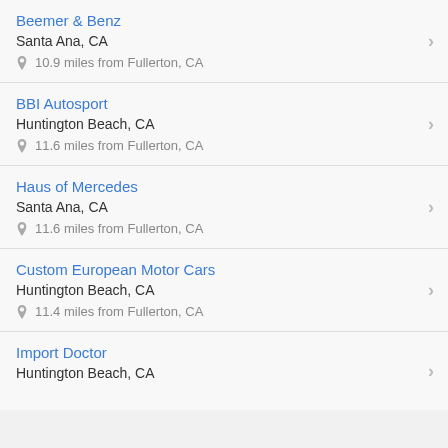Beemer & Benz
Santa Ana, CA
10.9 miles from Fullerton, CA
BBI Autosport
Huntington Beach, CA
11.6 miles from Fullerton, CA
Haus of Mercedes
Santa Ana, CA
11.6 miles from Fullerton, CA
Custom European Motor Cars
Huntington Beach, CA
11.4 miles from Fullerton, CA
Import Doctor
Huntington Beach, CA